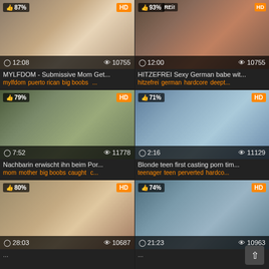[Figure (screenshot): Video thumbnail grid showing 6 adult video thumbnails with titles, tags, duration, view counts, and HD/percentage badges]
MYLFDOM - Submissive Mom Get...
mylfdom puerto rican big boobs ...
HITZEFREI Sexy German babe wit...
hitzefrei german hardcore deept...
Nachbarin erwischt ihn beim Por...
mom mother big boobs caught c...
Blonde teen first casting porn tim...
teenager teen perverted hardco...
80% HD 28:03 10687
74% HD 21:23 10963